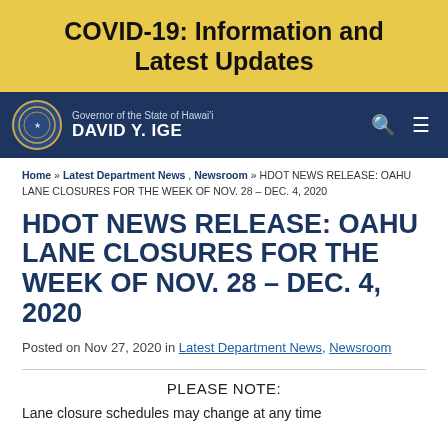COVID-19: Information and Latest Updates
[Figure (logo): Hawaii Governor David Y. Ige navigation bar with state seal, search icon, and menu icon]
Home » Latest Department News, Newsroom » HDOT NEWS RELEASE: OAHU LANE CLOSURES FOR THE WEEK OF NOV. 28 – DEC. 4, 2020
HDOT NEWS RELEASE: OAHU LANE CLOSURES FOR THE WEEK OF NOV. 28 – DEC. 4, 2020
Posted on Nov 27, 2020 in Latest Department News, Newsroom
PLEASE NOTE:
Lane closure schedules may change at any time